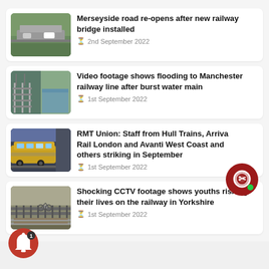Merseyside road re-opens after new railway bridge installed
2nd September 2022
Video footage shows flooding to Manchester railway line after burst water main
1st September 2022
RMT Union: Staff from Hull Trains, Arriva Rail London and Avanti West Coast and others striking in September
1st September 2022
Shocking CCTV footage shows youths risking their lives on the railway in Yorkshire
1st September 2022